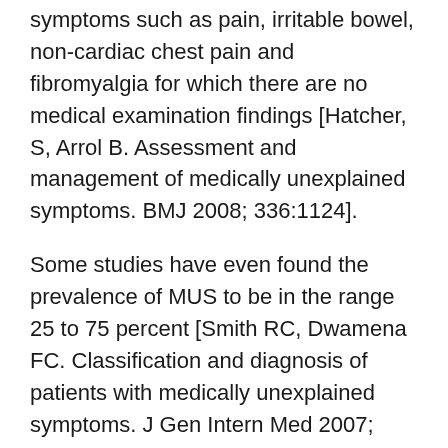symptoms such as pain, irritable bowel, non-cardiac chest pain and fibromyalgia for which there are no medical examination findings [Hatcher, S, Arrol B. Assessment and management of medically unexplained symptoms. BMJ 2008; 336:1124].
Some studies have even found the prevalence of MUS to be in the range 25 to 75 percent [Smith RC, Dwamena FC. Classification and diagnosis of patients with medically unexplained symptoms. J Gen Intern Med 2007; 22:685].
Explaining the Unexplainable
The nervous system controls and coordinates the function of every cell, tissue and organ of the body,